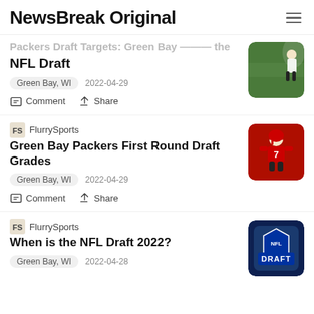NewsBreak Original
Packers Draft Targets: Green Bay Draft the NFL Draft
Green Bay, WI   2022-04-29
Comment   Share
FlurrySports
Green Bay Packers First Round Draft Grades
Green Bay, WI   2022-04-29
Comment   Share
FlurrySports
When is the NFL Draft 2022?
Green Bay, WI   2022-04-28